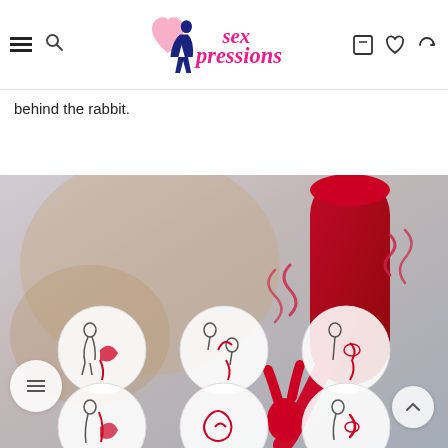Sexpressions - online sex shop logo with navigation icons
behind the rabbit.
[Figure (photo): Product image showing a red rabbit vibrator with usage instruction circles overlaid on a romantic couple background image. Six circular instructional diagrams are shown in two rows of three.]